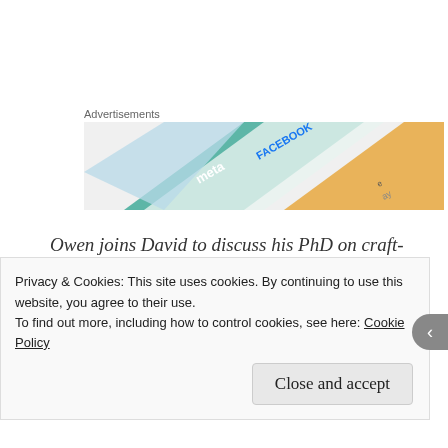Advertisements
[Figure (photo): Advertisement banner showing overlapping colorful gift cards or credit cards including Meta and Facebook branded cards, with teal, white, and gold colors]
Owen joins David to discuss his PhD on craft-tools from Roman London, including what they tell us about life in the city at the time, the misconceptions we can have about craftsman, particularly concerning how varied their experiences were, and how a tool for calming horses got misidentified as
Privacy & Cookies: This site uses cookies. By continuing to use this website, you agree to their use.
To find out more, including how to control cookies, see here: Cookie Policy
Close and accept